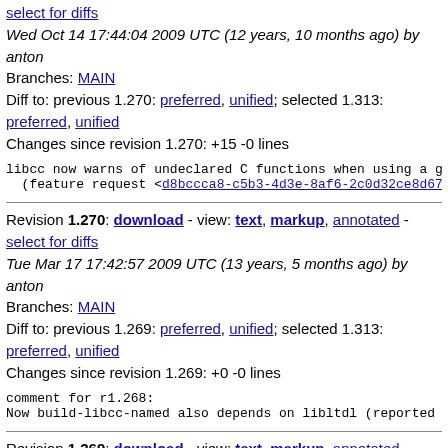select for diffs
Wed Oct 14 17:44:04 2009 UTC (12 years, 10 months ago) by anton
Branches: MAIN
Diff to: previous 1.270: preferred, unified; selected 1.313: preferred, unified
Changes since revision 1.270: +15 -0 lines
libcc now warns of undeclared C functions when using a go
  (feature request <d8bccca8-c5b3-4d3e-8af6-2c0d32ce8d67...
Revision 1.270: download - view: text, markup, annotated - select for diffs
Tue Mar 17 17:42:57 2009 UTC (13 years, 5 months ago) by anton
Branches: MAIN
Diff to: previous 1.269: preferred, unified; selected 1.313: preferred, unified
Changes since revision 1.269: +0 -0 lines
comment for r1.268:
Now build-libcc-named also depends on libltdl (reported b...
Revision 1.269: download - view: text, markup, annotated - select for diffs
Tue Mar 17 17:35:02 2009 UTC (13 years, 5 months ago) by anton
Branches: MAIN